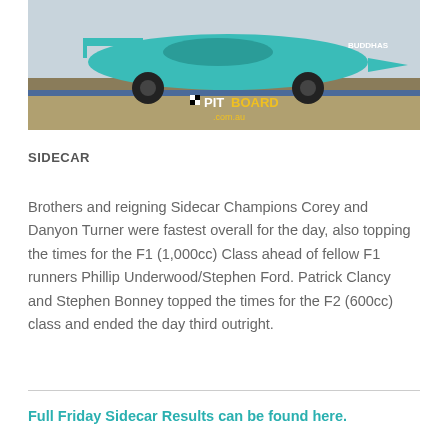[Figure (photo): A teal/cyan racing sidecar on a racetrack with PitBoard.com.au watermark logo visible in the lower center of the image.]
SIDECAR
Brothers and reigning Sidecar Champions Corey and Danyon Turner were fastest overall for the day, also topping the times for the F1 (1,000cc) Class ahead of fellow F1 runners Phillip Underwood/Stephen Ford. Patrick Clancy and Stephen Bonney topped the times for the F2 (600cc) class and ended the day third outright.
Full Friday Sidecar Results can be found here.